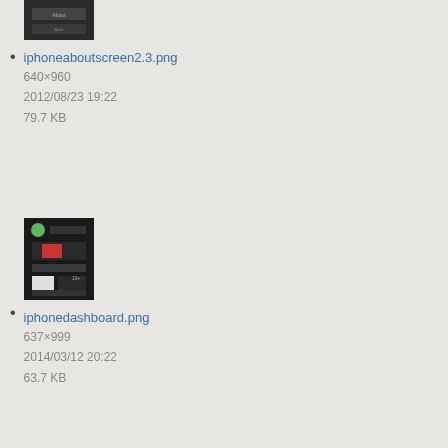[Figure (screenshot): Thumbnail of iphoneaboutscreen2.3.png - dark iPhone screen]
iphoneaboutscreen2.3.png
640×960
2012/08/23 19:22
79.7 KB
[Figure (screenshot): Thumbnail of iphonedashboard.png - dark iPhone dashboard screen]
iphonedashboard.png
637×999
2014/03/12 20:22
63.7 KB
[Figure (screenshot): Thumbnail of iseel_test_tool.png - web form interface]
iseel_test_tool.png
556×474
2014/08/25 19:12